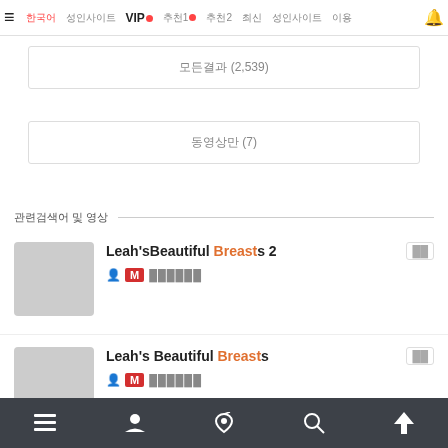≡  한국어  성인사이트  VIP  추천1  추천2  최신  성인사이트  이용
모든결과 (2,539)
동영상만 (7)
관련검색어 및 영상
Leah'sBeautiful Breasts 2
Leah's Beautiful Breasts
Jewelz Blu gives her breast
≡  👤  🔔  🔍  ↑